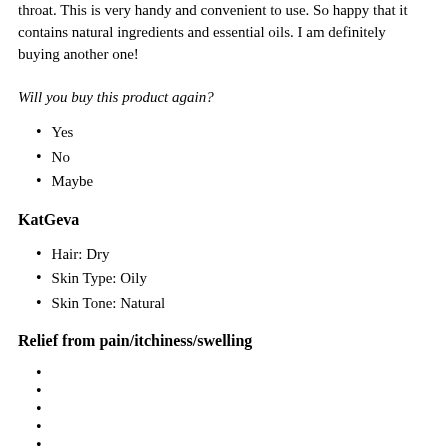throat. This is very handy and convenient to use. So happy that it contains natural ingredients and essential oils. I am definitely buying another one!
Will you buy this product again?
Yes
No
Maybe
KatGeva
Hair: Dry
Skin Type: Oily
Skin Tone: Natural
Relief from pain/itchiness/swelling
Instant Relief